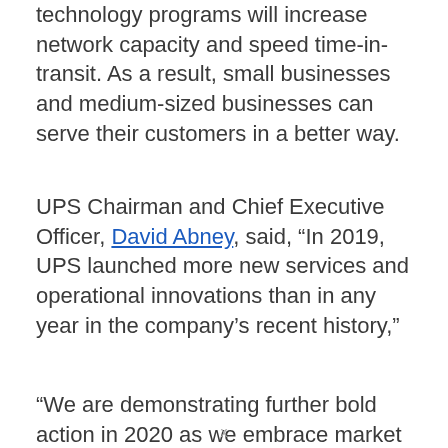technology programs will increase network capacity and speed time-in-transit. As a result, small businesses and medium-sized businesses can serve their customers in a better way.
UPS Chairman and Chief Executive Officer, David Abney, said, “In 2019, UPS launched more new services and operational innovations than in any year in the company’s recent history,”
“We are demonstrating further bold action in 2020 as we embrace market trends, invest for growth, partner for added reach and
x